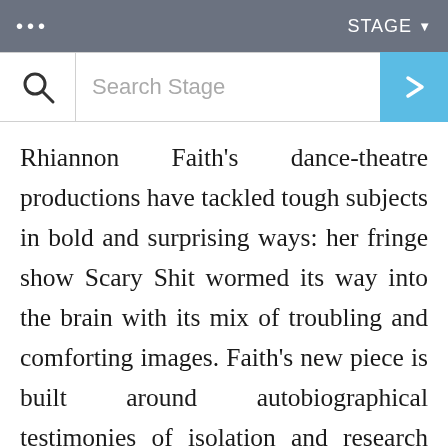... STAGE
[Figure (screenshot): Search bar with magnifying glass icon on left, 'Search Stage' placeholder text, and a blue arrow button on the right]
Rhiannon Faith's dance-theatre productions have tackled tough subjects in bold and surprising ways: her fringe show Scary Shit wormed its way into the brain with its mix of troubling and comforting images. Faith's new piece is built around autobiographical testimonies of isolation and research into the challenges faced by coastal towns with underfunded services, presenting “a society at tipping point”.